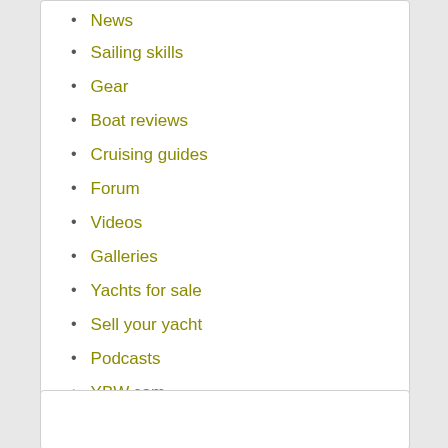News
Sailing skills
Gear
Boat reviews
Cruising guides
Forum
Videos
Galleries
Yachts for sale
Sell your yacht
Podcasts
YBW.com